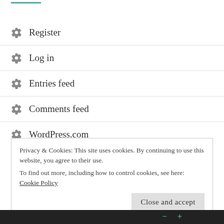[Figure (other): Teal horizontal decorative line at top left]
Register
Log in
Entries feed
Comments feed
WordPress.com
Privacy & Cookies: This site uses cookies. By continuing to use this website, you agree to their use.
To find out more, including how to control cookies, see here: Cookie Policy
Close and accept